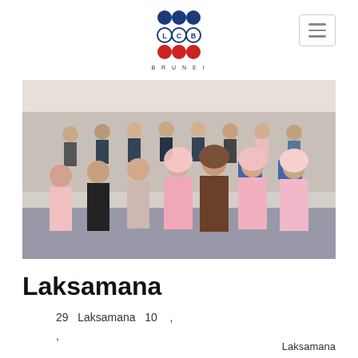LCB BRUNEI logo and navigation
[Figure (photo): Group photo of students and faculty/staff in a classroom or lecture hall setting. Several women in pink traditional dress in the front row, three women in casual/professional attire, and many students in the background.]
Laksamana
29  Laksamana  10  ,
,
Laksamana